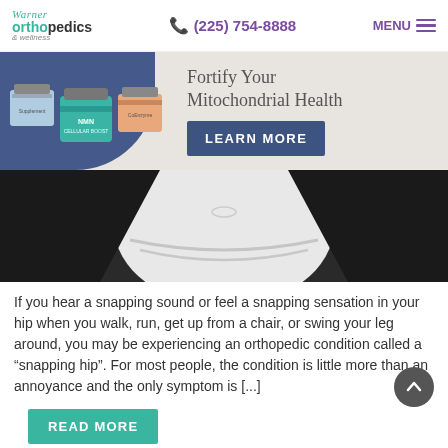Warner Orthopedics & Wellness | (225) 754-8888 | MENU
[Figure (infographic): Banner advertisement for NMN supplement products with text 'Fortify Your Mitochondrial Health' and a 'LEARN MORE' button. Shows several supplement jars on a dark blue background shape.]
[Figure (photo): Close-up photo of a person (from neck to waist) wearing a white shirt and dark jacket, crossing their arms over their midsection.]
If you hear a snapping sound or feel a snapping sensation in your hip when you walk, run, get up from a chair, or swing your leg around, you may be experiencing an orthopedic condition called a “snapping hip”. For most people, the condition is little more than an annoyance and the only symptom is [...]
READ MORE